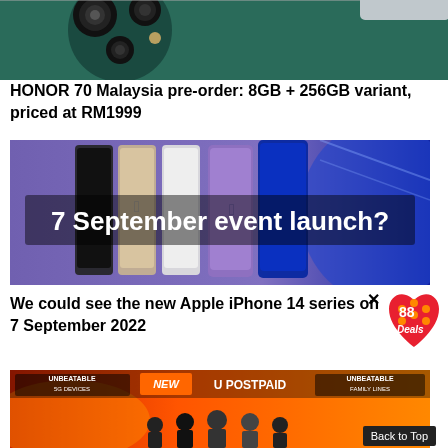[Figure (photo): Top portion of HONOR 70 smartphone showing camera module, cropped at top of page]
HONOR 70 Malaysia pre-order: 8GB + 256GB variant, priced at RM1999
[Figure (photo): iPhone 14 series lineup banner with text '7 September event launch?' overlaid on image of multiple iPhones in various colors against purple background]
We could see the new Apple iPhone 14 series on 7 September 2022
[Figure (photo): U Postpaid launch event banner with orange background showing 'UNBEATABLE 5G DEVICES', 'NEW U POSTPAID', 'UNBEATABLE FAMILY LINES' text and group of people on stage]
Back to Top